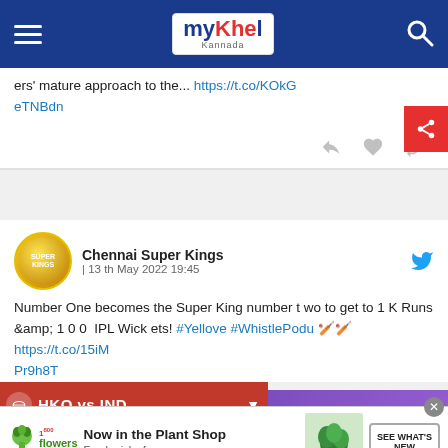myKhel Kannada
ers' mature approach to the... https://t.co/KOkGeTNBdn
Chennai Super Kings | 13 th May 2022 19:45
Number One becomes the Super King number two to get to 1 K Runs &amp; 1 0 0 IPL Wickets! #Yellove #WhistlePodu 🏏🏏 https://t.co/15iMPr9h8T
HKO vs IND
HKO 141/5 (19.1)
[Figure (screenshot): 1800flowers.com advertisement: Now in the Plant Shop - Fresh picks for summer, SEE WHAT'S NEW button]